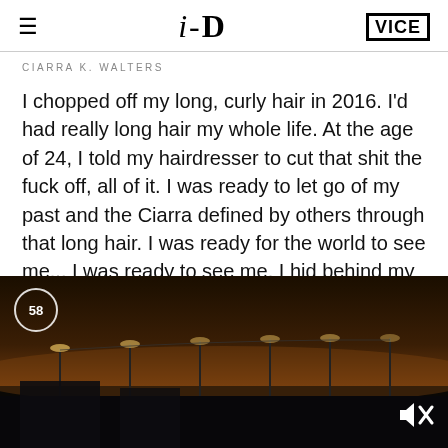i-D | VICE
CIARRA K. WALTERS
I chopped off my long, curly hair in 2016. I'd had really long hair my whole life. At the age of 24, I told my hairdresser to cut that shit the fuck off, all of it. I was ready to let go of my past and the Ciarra defined by others through that long hair. I was ready for the world to see me... I was ready to see me. I hid behind my curls since the age of five, thinking that my hair was who I was. I used to
[Figure (screenshot): Video player showing a dark twilight/dusk scene with street lights and telephone poles against a dim sky. A circular timer badge showing '58' is overlaid in the top-left corner, and a mute icon is in the bottom-right.]